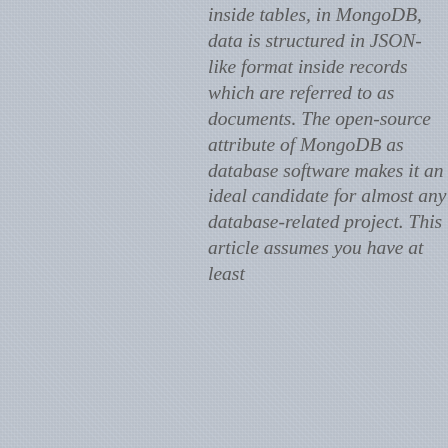inside tables, in MongoDB, data is structured in JSON-like format inside records which are referred to as documents. The open-source attribute of MongoDB as database software makes it an ideal candidate for almost any database-related project. This article assumes you have at least